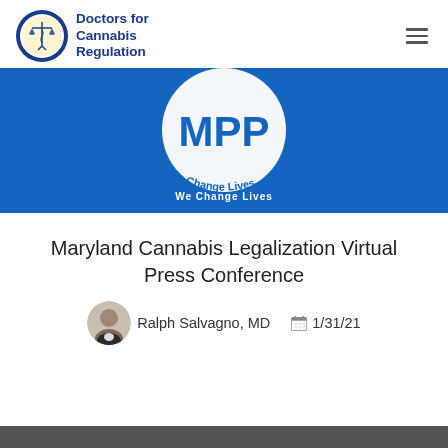[Figure (logo): Doctors for Cannabis Regulation logo: circular seal with medical scales icon, and text 'Doctors for Cannabis Regulation' in dark blue]
[Figure (photo): MPP (Marijuana Policy Project) banner image: blue background with large white MPP circular logo and text 'We Change Lives']
Maryland Cannabis Legalization Virtual Press Conference
Ralph Salvagno, MD   1/31/21
[Figure (photo): Dark gray bar at bottom of page, partially visible]